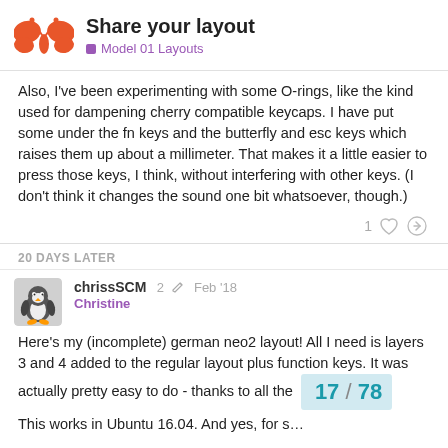Share your layout — Model 01 Layouts
Also, I've been experimenting with some O-rings, like the kind used for dampening cherry compatible keycaps. I have put some under the fn keys and the butterfly and esc keys which raises them up about a millimeter. That makes it a little easier to press those keys, I think, without interfering with other keys. (I don't think it changes the sound one bit whatsoever, though.)
20 DAYS LATER
chrissSCM — Christine — 2 edits — Feb '18
Here's my (incomplete) german neo2 layout! All I need is layers 3 and 4 added to the regular layout plus function keys. It was actually pretty easy to do - thanks to all the
This works in Ubuntu 16.04. And yes, for s…